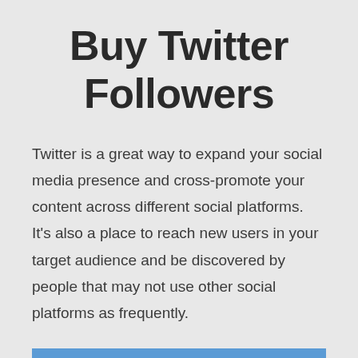Buy Twitter Followers
Twitter is a great way to expand your social media presence and cross-promote your content across different social platforms. It's also a place to reach new users in your target audience and be discovered by people that may not use other social platforms as frequently.
READ MORE OF THE ARTICLE